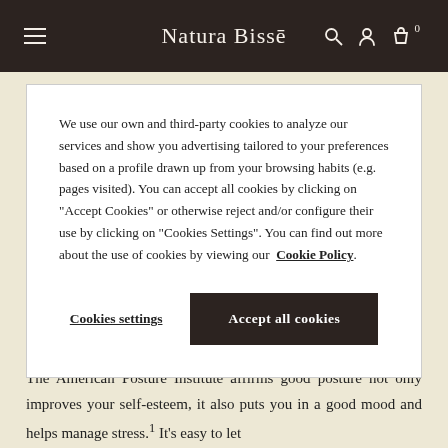Natura Bissé
We use our own and third-party cookies to analyze our services and show you advertising tailored to your preferences based on a profile drawn up from your browsing habits (e.g. pages visited). You can accept all cookies by clicking on "Accept Cookies" or otherwise reject and/or configure their use by clicking on "Cookies Settings". You can find out more about the use of cookies by viewing our Cookie Policy.
Cookies settings | Accept all cookies
HOLD YOURSELF ROYALLY
The American Posture Institute affirms good posture not only improves your self-esteem, it also puts you in a good mood and helps manage stress.¹ It's easy to let